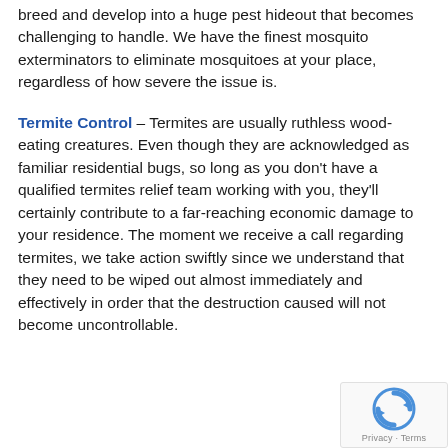breed and develop into a huge pest hideout that becomes challenging to handle. We have the finest mosquito exterminators to eliminate mosquitoes at your place, regardless of how severe the issue is.
Termite Control – Termites are usually ruthless wood-eating creatures. Even though they are acknowledged as familiar residential bugs, so long as you don't have a qualified termites relief team working with you, they'll certainly contribute to a far-reaching economic damage to your residence. The moment we receive a call regarding termites, we take action swiftly since we understand that they need to be wiped out almost immediately and effectively in order that the destruction caused will not become uncontrollable.